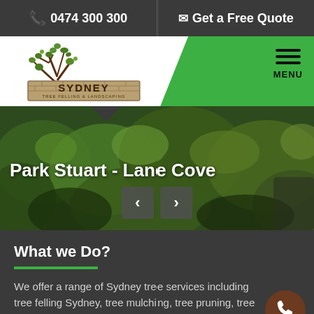0474 300 300 | Get a Free Quote
[Figure (logo): Sydney Tree Felling & Landscaping logo with tree illustration and text]
[Figure (photo): Photo of dense green foliage/plants in a park setting with text overlay 'Park Stuart - Lane Cove' and navigation arrows]
What we Do?
We offer a range of Sydney tree services including tree felling Sydney, tree mulching, tree pruning, tree removal,